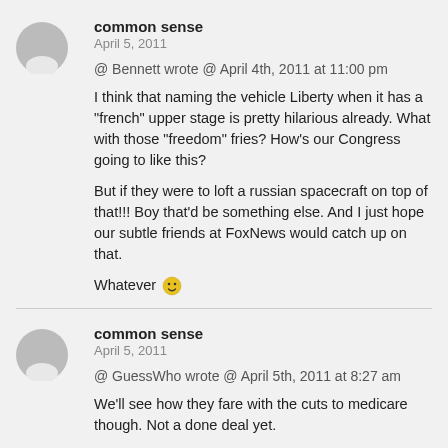common sense
April 5, 2011
@ Bennett wrote @ April 4th, 2011 at 11:00 pm
I think that naming the vehicle Liberty when it has a "french" upper stage is pretty hilarious already. What with those "freedom" fries? How's our Congress going to like this?
But if they were to loft a russian spacecraft on top of that!!! Boy that'd be something else. And I just hope our subtle friends at FoxNews would catch up on that.
Whatever 🙂
common sense
April 5, 2011
@ GuessWho wrote @ April 5th, 2011 at 8:27 am
We'll see how they fare with the cuts to medicare though. Not a done deal yet.
" all it really does is return the USG to the debt position we were in in 2008"